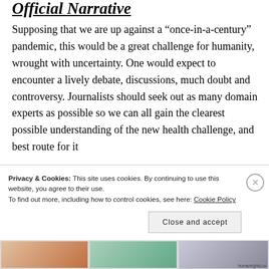Official Narrative
Supposing that we are up against a “once-in-a-century” pandemic, this would be a great challenge for humanity, wrought with uncertainty. One would expect to encounter a lively debate, discussions, much doubt and controversy. Journalists should seek out as many domain experts as possible so we can all gain the clearest possible understanding of the new health challenge, and best route for it...
Privacy & Cookies: This site uses cookies. By continuing to use this website, you agree to their use. To find out more, including how to control cookies, see here: Cookie Policy